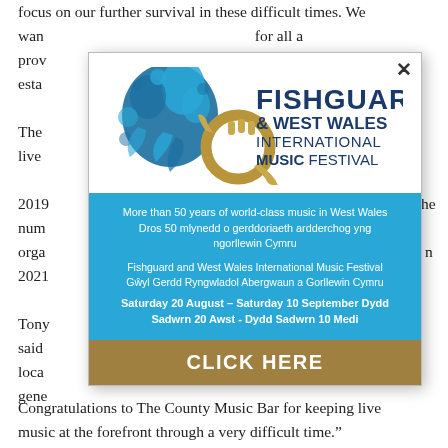focus on our further survival in these difficult times. We want ... provide ... establish ...
The ... the live ... 2019 ... he number ... organization ... 2021 ...
Tony ... said ... local ... ext gene...
[Figure (illustration): Fishguard & West Wales International Music Festival popup advertisement with logo (blue decorative swirls and a gold French horn), blue banner with bilingual English/Welsh text about 50 years of world-class music, dates Saturday 20 August - Saturday 10 September, and a gold CLICK HERE button.]
Congratulations to The County Music Bar for keeping live music at the forefront through a very difficult time."